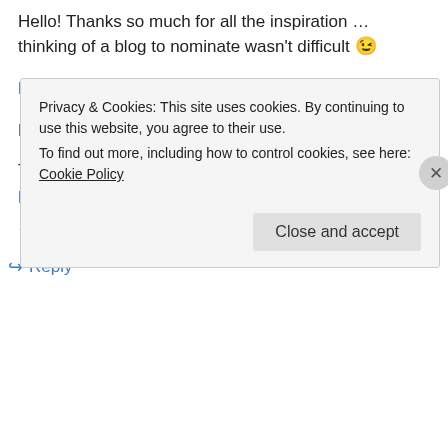Hello! Thanks so much for all the inspiration … thinking of a blog to nominate wasn't difficult 😉
http://artbyanto.com/2013/01/08/woot/
Much appreciated!
T.Jay
http://www.artbyanto.com
★ Like
↪ Reply
Privacy & Cookies: This site uses cookies. By continuing to use this website, you agree to their use.
To find out more, including how to control cookies, see here: Cookie Policy
Close and accept